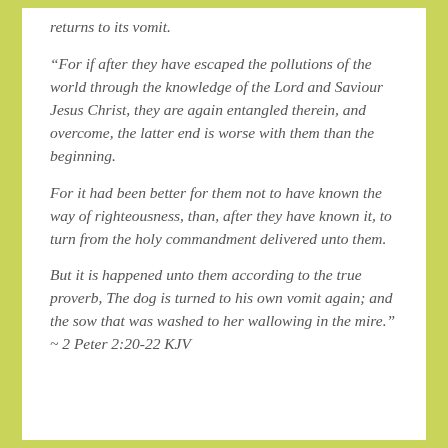returns to its vomit.
“For if after they have escaped the pollutions of the world through the knowledge of the Lord and Saviour Jesus Christ, they are again entangled therein, and overcome, the latter end is worse with them than the beginning.
For it had been better for them not to have known the way of righteousness, than, after they have known it, to turn from the holy commandment delivered unto them.
But it is happened unto them according to the true proverb, The dog is turned to his own vomit again; and the sow that was washed to her wallowing in the mire.” ~ 2 Peter 2:20-22 KJV